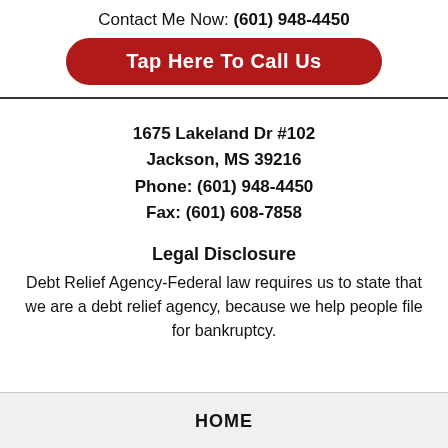Contact Me Now: (601) 948-4450
Tap Here To Call Us
1675 Lakeland Dr #102
Jackson, MS 39216
Phone: (601) 948-4450
Fax: (601) 608-7858
Legal Disclosure
Debt Relief Agency-Federal law requires us to state that we are a debt relief agency, because we help people file for bankruptcy.
HOME